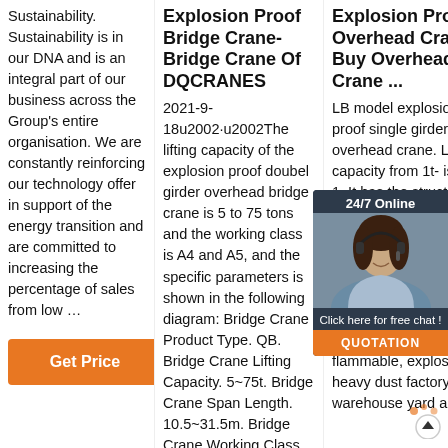Sustainability. Sustainability is in our DNA and is an integral part of our business across the Group's entire organisation. We are constantly reinforcing our technology offer in support of the energy transition and are committed to increasing the percentage of sales from low …
Get Price
Explosion Proof Bridge Crane- Bridge Crane Of DQCRANES
2021-9-18u2002·u2002The lifting capacity of the explosion proof doubel girder overhead bridge crane is 5 to 75 tons and the working class is A4 and A5, and the specific parameters is shown in the following diagram: Bridge Crane Product Type. QB. Bridge Crane Lifting Capacity. 5~75t. Bridge Crane Span Length. 10.5~31.5m. Bridge Crane Working Class.
Explosion Proof Overhead Crane - Buy Overhead Crane ...
LB model explosion proof single girder overhead crane. Lifting capacity from 1t- is from 1. It has the structure type electric overhead crane. LB type overhead assembly the explosion proof hoist, with sealed cover. Can be work in environment with combustible flammable, explosive, heavy dust factory, warehouse yard and
[Figure (photo): Customer service representative with headset, 24/7 Online chat widget overlay in dark background with orange QUOTATION button]